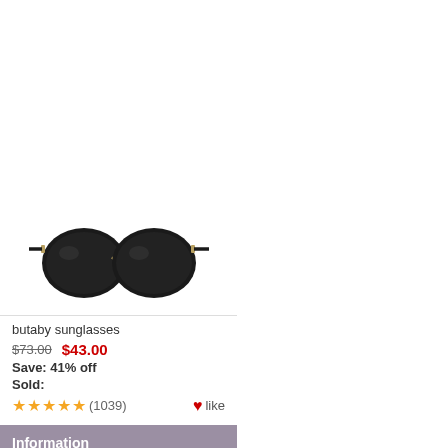[Figure (photo): Product photo of butaby sunglasses — two black lens cat-eye/round sunglasses side by side on white background]
butaby sunglasses
$73.00  $43.00
Save: 41% off
Sold:
★★★★★ (1039)   ♥like
Information
Shipping & Returns
Privacy Notice
F.A.Q
Contact Us
Site Map